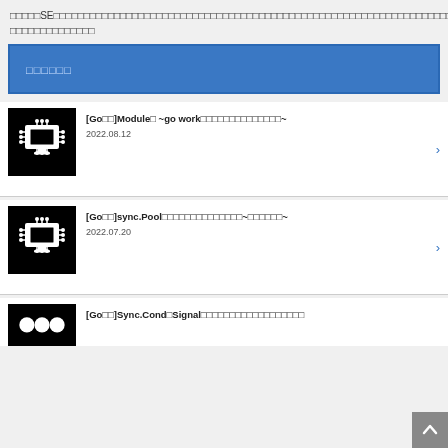□□□□□SE□□□□□□□□□□□□□□□□□□□□□□□□□□□□□□□□□□□□□□□□□□□□□□□□□□□□□□□□□□□□□□□□□□□□□□□□□□□□□□□□□□□□□□□□□□□□□□□□□□□□□□
□□□□□□
[Go□□]Module□ ~go work□□□□□□□□□□□□□~
2022.08.12
[Go□□]sync.Pool□□□□□□□□□□□□□□~□□□□□□~
2022.07.20
[Go□□]Sync.Cond□Signal□□□□□□□□□□□□□□□□□□